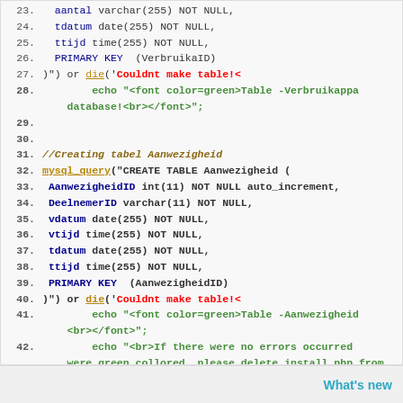[Figure (screenshot): Code editor screenshot showing PHP/MySQL code lines 23-43, creating database tables Verbruikappa and Aanwezigheid, with syntax highlighting in blue, green, orange colors.]
What's new